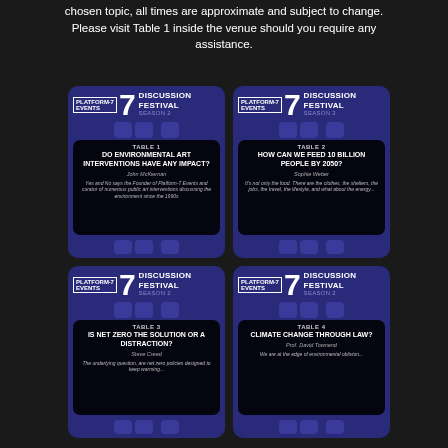chosen topic, all times are approximate and subject to change. Please visit Table 1 inside the venue should you require any assistance.
[Figure (infographic): Discussion Festival Season 2 card - Table 1: DO ENVIRONMENTAL ART INTERVENTIONS HAVE ANY IMPACT? by John McKiernan. Description: Yes and No says the Founder of Platform-7 Events and curator of numerous public art interventions discussing the environment since the 1990s]
[Figure (infographic): Discussion Festival Season 2 card - Table 2: HOW CAN WE FEED 10 BILLION PEOPLE BY 2050? by Sophie Weber. Description: It's not only the food. There are the clothes, the shelters, the jobs, the travel, the lifestyle, and what about the energy...]
[Figure (infographic): Discussion Festival Season 2 card - Table 3: IS NET ZERO THE SOLUTION OR A DISTRACTION? by Steve Creed. Description: The underlying question, are net zero policies designed to keep warming...]
[Figure (infographic): Discussion Festival Season 2 card - Table 4: CLIMATE CHANGE THROUGH LAW? by Prof. David Townend. Description: We are at the edge of environmental oblivion...]